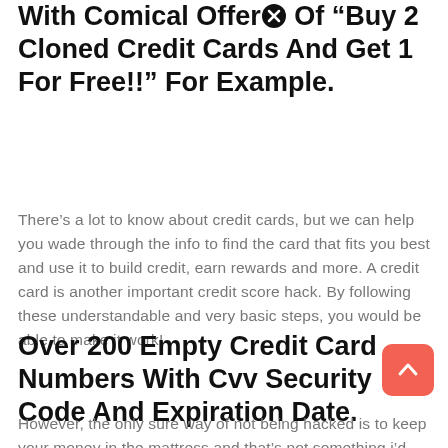With Comical Offers Of “Buy 2 Cloned Credit Cards And Get 1 For Free!!” For Example.
There’s a lot to know about credit cards, but we can help you wade through the info to find the card that fits you best and use it to build credit, earn rewards and more. A credit card is another important credit score hack. By following these understandable and very basic steps, you would be able to make it work!
Over 200 Empty Credit Card Numbers With Cvv Security Code And Expiration Date.
However, the only sure way of not being hacked is to keep your money in the mattress and that’s not something i’d recommend carrying a balance